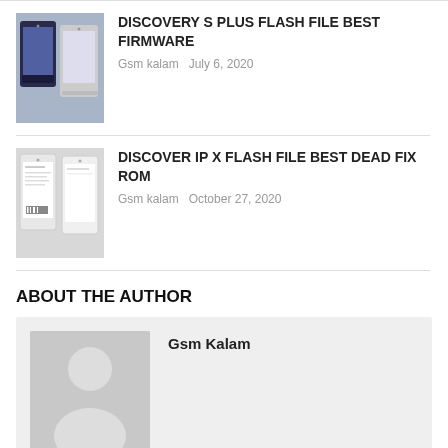[Figure (photo): Phone thumbnail image for Discovery S Plus article]
DISCOVERY S PLUS FLASH FILE BEST FIRMWARE
Gsm kalam   July 6, 2020
[Figure (photo): Phone thumbnail image for Discover IP X article]
DISCOVER IP X FLASH FILE BEST DEAD FIX ROM
Gsm kalam   October 27, 2020
ABOUT THE AUTHOR
[Figure (photo): Default avatar silhouette placeholder for Gsm Kalam author]
Gsm Kalam
LEAVE A REPLY